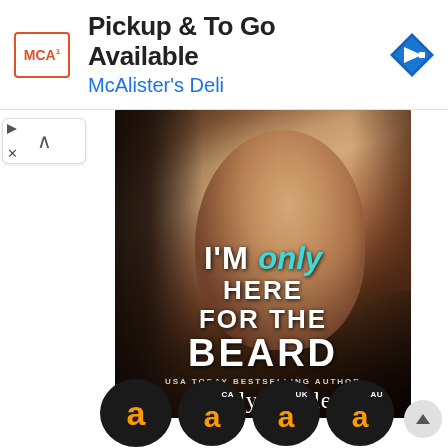[Figure (other): Advertisement banner for McAlister's Deli with logo, text 'Pickup & To Go Available', 'McAlister's Deli', and blue navigation arrow diamond icon]
[Figure (illustration): Book cover for 'I'm Only Here for the Beard' by Lani Lynn Vale (USA Today Bestselling Author), featuring a tattooed muscular male torso. Title text in white and teal.]
[Figure (other): Row of four Amazon purchase buttons (circular black with orange 'a' logo) — main, CA, UK, AU regions — for purchasing the book]